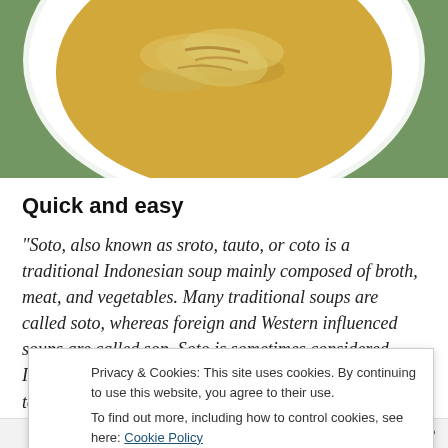[Figure (photo): Top portion of a white bowl containing soup (soto) with broth and ingredients visible, photographed from above against a teal/green background]
Quick and easy
“Soto, also known as sroto, tauto, or coto is a traditional Indonesian soup mainly composed of broth, meat, and vegetables. Many traditional soups are called soto, whereas foreign and Western influenced soups are called sop. Soto is sometimes considered Indonesia’s national dish, as it is served from Sumatra to Papua, in a wide range of variations. Soto is
Privacy & Cookies: This site uses cookies. By continuing to use this website, you agree to their use.
To find out more, including how to control cookies, see here: Cookie Policy
Close and accept
Follow ...